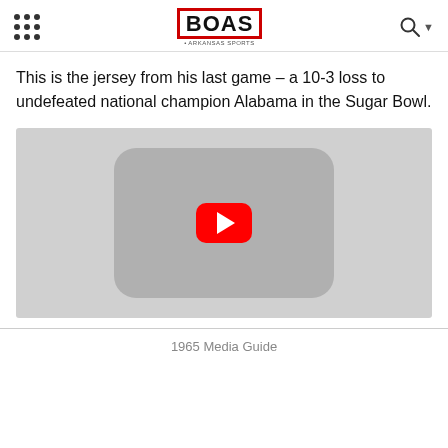BOAS - BEST OF ARKANSAS SPORTS
This is the jersey from his last game – a 10-3 loss to undefeated national champion Alabama in the Sugar Bowl.
[Figure (screenshot): Video thumbnail with YouTube play button on grey background]
1965 Media Guide